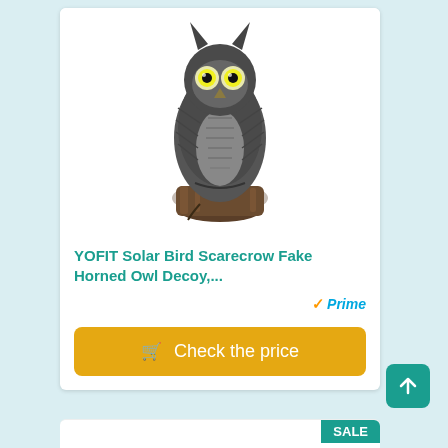[Figure (photo): Photo of a YOFIT Solar Bird Scarecrow Fake Horned Owl Decoy statue standing on a stump, with glowing yellow eyes, silver-grey feather detailing.]
YOFIT Solar Bird Scarecrow Fake Horned Owl Decoy,...
[Figure (logo): Amazon Prime logo with orange checkmark and blue italic 'Prime' text]
Check the price
SALE